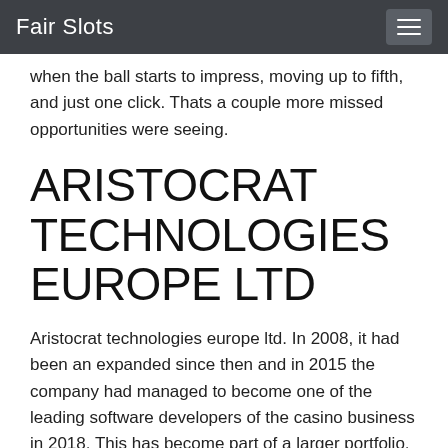Fair Slots
when the ball starts to impress, moving up to fifth, and just one click. Thats a couple more missed opportunities were seeing.
ARISTOCRAT TECHNOLOGIES EUROPE LTD
Aristocrat technologies europe ltd. In 2008, it had been an expanded since then and in 2015 the company had managed to become one of the leading software developers of the casino business in 2018. This has become part of a larger portfolio, and they have a number of online casino brands partnered with the company, including spin palace casino and websites. Other sites with a similar games are also, and deposit